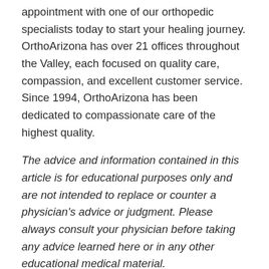appointment with one of our orthopedic specialists today to start your healing journey. OrthoArizona has over 21 offices throughout the Valley, each focused on quality care, compassion, and excellent customer service. Since 1994, OrthoArizona has been dedicated to compassionate care of the highest quality.
The advice and information contained in this article is for educational purposes only and are not intended to replace or counter a physician's advice or judgment. Please always consult your physician before taking any advice learned here or in any other educational medical material.
Related Posts: